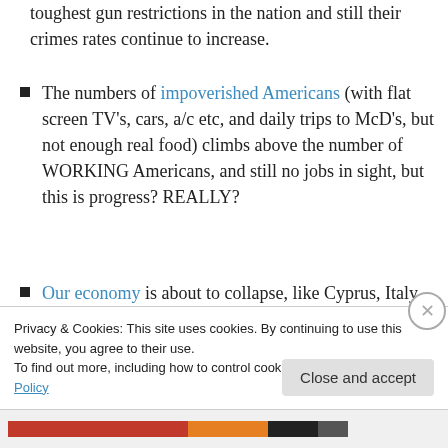toughest gun restrictions in the nation and still their crimes rates continue to increase.
The numbers of impoverished Americans (with flat screen TV's, cars, a/c etc, and daily trips to McD's, but not enough real food) climbs above the number of WORKING Americans, and still no jobs in sight, but this is progress? REALLY?
Our economy is about to collapse, like Cyprus, Italy, and France, but sure, let's print more paper money. BETTER?
Privacy & Cookies: This site uses cookies. By continuing to use this website, you agree to their use. To find out more, including how to control cookies, see here: Cookie Policy
Close and accept